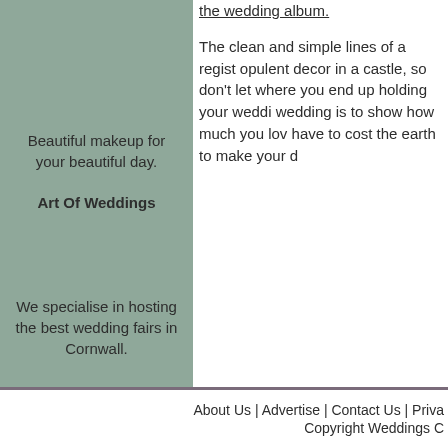Beautiful makeup for your beautiful day.
Art Of Weddings
We specialise in hosting the best wedding fairs in Cornwall.
the wedding album.
The clean and simple lines of a regist opulent decor in a castle, so don't let where you end up holding your weddi wedding is to show how much you lov have to cost the earth to make your d
About Us | Advertise | Contact Us | Priva Copyright Weddings C